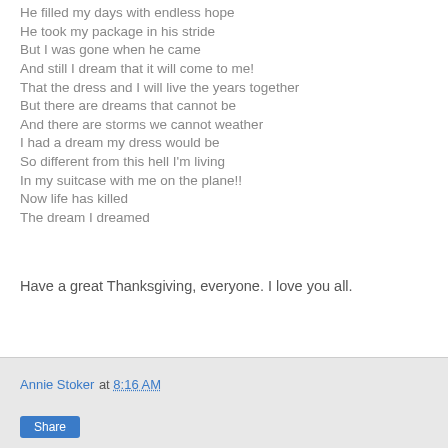He filled my days with endless hope
He took my package in his stride
But I was gone when he came
And still I dream that it will come to me!
That the dress and I will live the years together
But there are dreams that cannot be
And there are storms we cannot weather
I had a dream my dress would be
So different from this hell I'm living
In my suitcase with me on the plane!!
Now life has killed
The dream I dreamed
Have a great Thanksgiving, everyone. I love you all.
Annie Stoker at 8:16 AM